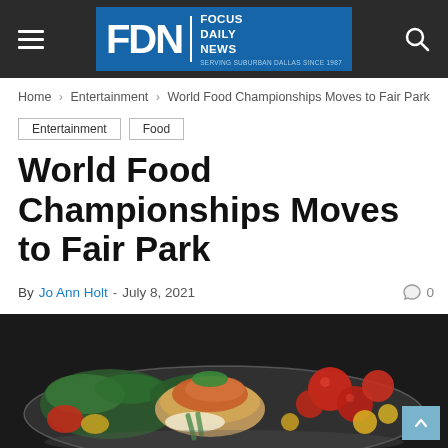FDN Focus Daily News — Serving Suburban Dallas Since 1987
Home › Entertainment › World Food Championships Moves to Fair Park
Entertainment
Food
World Food Championships Moves to Fair Park
By Jo Ann Holt - July 8, 2021  0
[Figure (photo): A plated dish featuring salmon or meat with gnocchi, green leafy vegetables, cherry tomatoes, and yellow cherry tomatoes on a round plate, set against a dark background.]